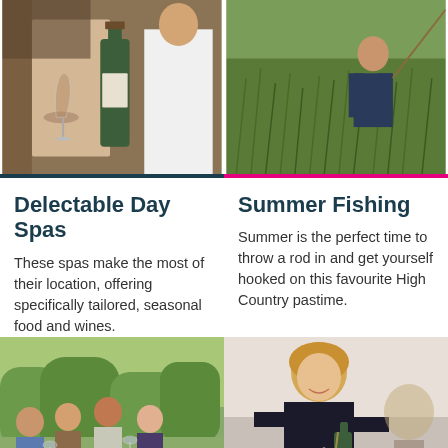[Figure (photo): Photo of wine bottle and glasses on a table, person in background]
[Figure (photo): Photo of person fishing in grass/field area]
Delectable Day Spas
Summer Fishing
These spas make the most of their location, offering specifically tailored, seasonal food and wines.
Summer is the perfect time to throw a rod in and get yourself hooked on this favourite High Country pastime.
[Figure (photo): Photo of group of people laughing and drinking wine outdoors by a river]
[Figure (photo): Photo of woman pouring wine at a restaurant or winery]